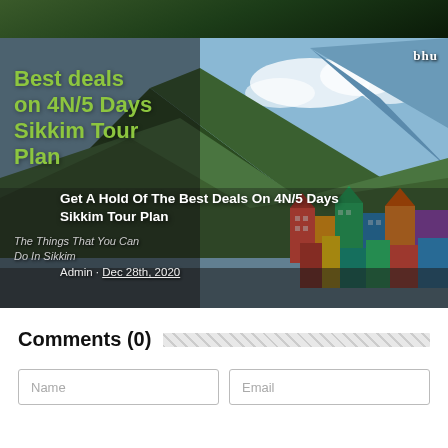[Figure (photo): Top portion of a mountain landscape photo, dark green hills]
[Figure (photo): Promotional card for Sikkim tour package showing colorful mountain town with green/yellow text overlay reading 'Best deals on 4N/5 Days Sikkim Tour Plan' and subtitle 'Get A Hold Of The Best Deals On 4N/5 Days Sikkim Tour Plan', with admin/date line 'Admin · Dec 28th, 2020']
Comments (0)
Name
Email